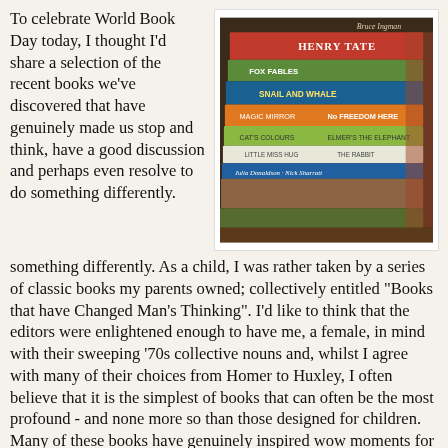To celebrate World Book Day today, I thought I'd share a selection of the recent books we've discovered that have genuinely made us stop and think, have a good discussion and perhaps even resolve to do something differently.
[Figure (photo): A photograph of a stack of children's books piled on top of each other, showing their spines. Visible titles include 'Henry Tate' by Bruce Ingman, and others including Julia Donaldson and Nick Sharratt titles.]
something differently. As a child, I was rather taken by a series of classic books my parents owned; collectively entitled "Books that have Changed Man's Thinking". I'd like to think that the editors were enlightened enough to have me, a female, in mind with their sweeping '70s collective nouns and, whilst I agree with many of their choices from Homer to Huxley, I often believe that it is the simplest of books that can often be the most profound - and none more so than those designed for children. Many of these books have genuinely inspired wow moments for me as a parent, several - without fail - provoke tears, but all in some way have served to remind me to celebrate the joy in life, embrace difference, and